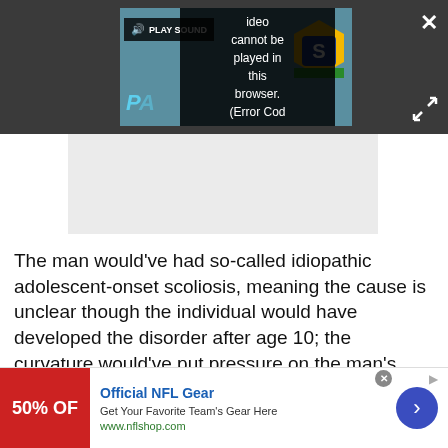[Figure (screenshot): Video player with dark background showing error message 'Video cannot be played in this browser. (Error Cod' with PLAY SOUND button overlay and a logo visible on the right side of the thumbnail. Close (X) and expand buttons visible.]
[Figure (other): Gray advertisement placeholder rectangle below video player.]
The man would've had so-called idiopathic adolescent-onset scoliosis, meaning the cause is unclear though the individual would have developed the disorder after age 10; the curvature would've put pressure on the man's heart and lungs and could've
[Figure (other): Advertisement banner for Official NFL Gear: '50% OFF' in red box on left, 'Official NFL Gear' in blue, 'Get Your Favorite Team's Gear Here', 'www.nflshop.com' in green, blue circular arrow button on right. Small X close button and ad info icon.]